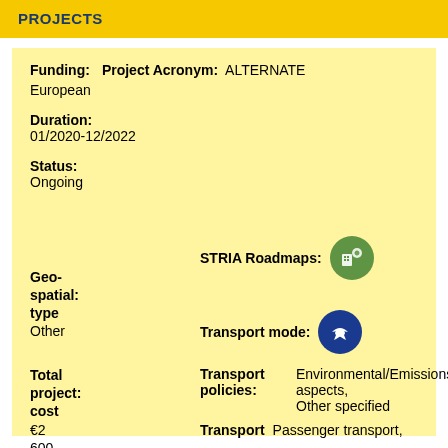PROJECTS
Funding: European
Project Acronym: ALTERNATE
Duration: 01/2020-12/2022
Status: Ongoing
[Figure (illustration): STRIA Roadmaps green circle icon with transport/city imagery]
STRIA Roadmaps:
Geo-spatial: type Other
[Figure (illustration): Transport mode blue circle icon with airplane]
Transport mode:
Total project: cost €2 600 387
Transport policies: Environmental/Emissions aspects, Other specified
Transport  Passenger transport,